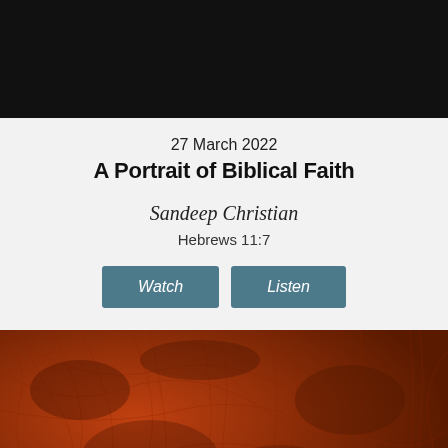[Figure (photo): Dark black header banner image]
27 March 2022
A Portrait of Biblical Faith
Sandeep Christian
Hebrews 11:7
Watch  Listen
[Figure (photo): Dark reddish-brown textured leaf background with the word PROVIDENCE in large bold white text at the bottom, and a reCAPTCHA widget in the bottom right corner]